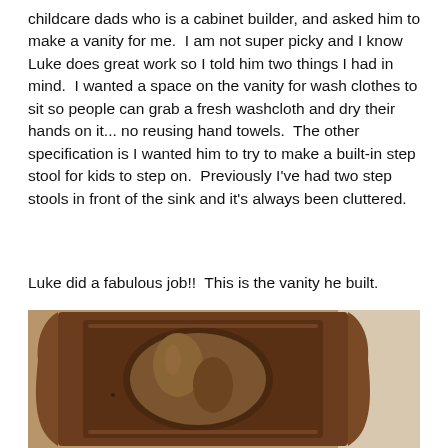childcare dads who is a cabinet builder, and asked him to make a vanity for me.  I am not super picky and I know Luke does great work so I told him two things I had in mind.  I wanted a space on the vanity for wash clothes to sit so people can grab a fresh washcloth and dry their hands on it... no reusing hand towels.  The other specification is I wanted him to try to make a built-in step stool for kids to step on.  Previously I've had two step stools in front of the sink and it's always been cluttered.
Luke did a fabulous job!!  This is the vanity he built.
[Figure (photo): Photo of a wooden vanity mirror with an ornate carved wood frame featuring an oval mirror, photographed against a beige wall. The mirror frame appears to be made of dark stained wood with decorative carved edges.]